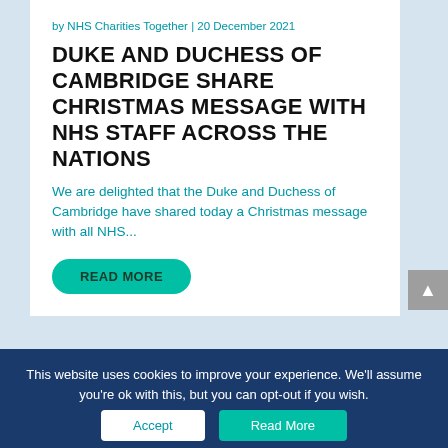by NHS Charities Together | 20 December 2021
DUKE AND DUCHESS OF CAMBRIDGE SHARE CHRISTMAS MESSAGE WITH NHS STAFF ACROSS THE NATIONS
We are delighted that the Duke and Duchess of Cambridge have shared today a Christmas message with all NHS...
READ MORE
This website uses cookies to improve your experience. We'll assume you're ok with this, but you can opt-out if you wish.
Accept
Read More